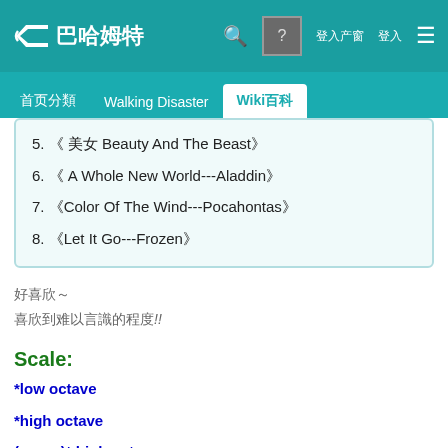巴哈姆特
首頁分類 | Walking Disaster | Wiki百科
5. 《 美女與野獸 Beauty And The Beast》
6. 《 A Whole New World---Aladdin》
7. 《Color Of The Wind---Pocahontas》
8. 《Let It Go---Frozen》
好喜歡～
喜歡到難以言喻的程度!!
Scale:
xxxxxxxx*xxxxxxlow octave
xxxxxxx*xxxxxxhigh octave
(xxxxx)* xxxxxxxxhigh octave